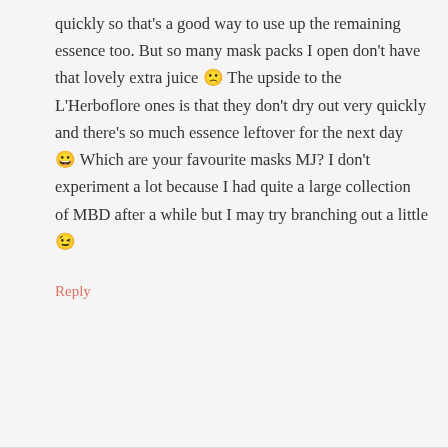quickly so that's a good way to use up the remaining essence too. But so many mask packs I open don't have that lovely extra juice 🙁 The upside to the L'Herboflore ones is that they don't dry out very quickly and there's so much essence leftover for the next day 😀 Which are your favourite masks MJ? I don't experiment a lot because I had quite a large collection of MBD after a while but I may try branching out a little 😉
Reply